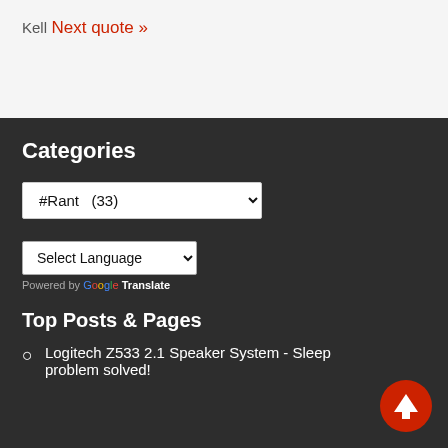Kell
Next quote »
Categories
#Rant   (33)
Select Language
Powered by Google Translate
Top Posts & Pages
Logitech Z533 2.1 Speaker System - Sleep problem solved!